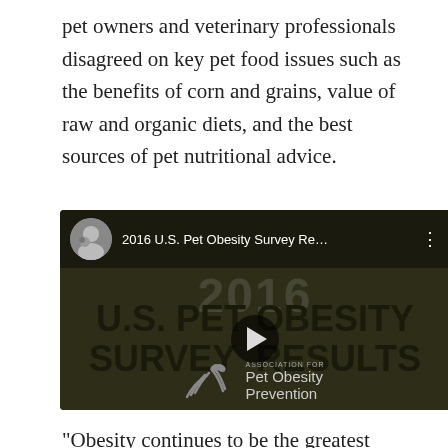pet owners and veterinary professionals disagreed on key pet food issues such as the benefits of corn and grains, value of raw and organic diets, and the best sources of pet nutritional advice.
[Figure (screenshot): YouTube video thumbnail for '2016 U.S. Pet Obesity Survey Re...' showing a video player with a man (veterinarian) avatar, the title 'U.S. PET OBESITY SURVEY RESULTS' in large bold text on a dark olive/brown background, a play button, and the Association for Pet Obesity Prevention logo at the bottom.]
“Obesity continues to be the greatest health threat to dogs and cats,” states APOP Founder veterinarian Dr.